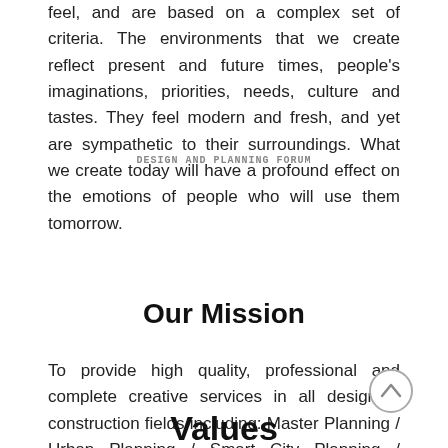feel, and are based on a complex set of criteria. The environments that we create reflect present and future times, people's imaginations, priorities, needs, culture and tastes. They feel modern and fresh, and yet are sympathetic to their surroundings. What we create today will have a profound effect on the emotions of people who will use them tomorrow.
DESIGN AND PLANNING FORUM
Our Mission
To provide high quality, professional and complete creative services in all design & construction fields including: Master Planning / Urban Planning / Smart City Planning / Infrastructure Planning / Architectural Design / Structural Design /Sustainability
Values